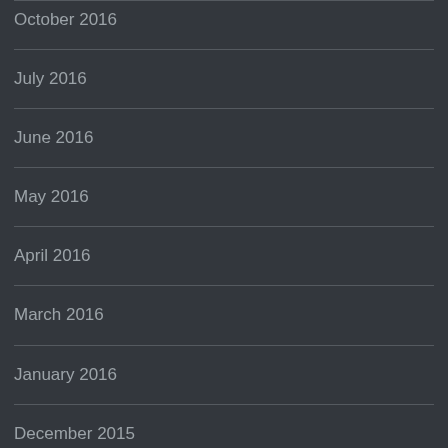October 2016
July 2016
June 2016
May 2016
April 2016
March 2016
January 2016
December 2015
November 2015
August 2015
July 2015
June 2015